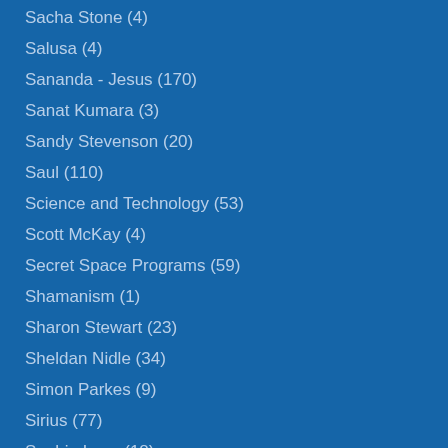Sacha Stone (4)
Salusa (4)
Sananda - Jesus (170)
Sanat Kumara (3)
Sandy Stevenson (20)
Saul (110)
Science and Technology (53)
Scott McKay (4)
Secret Space Programs (59)
Shamanism (1)
Sharon Stewart (23)
Sheldan Nidle (34)
Simon Parkes (9)
Sirius (77)
Sophia Love (18)
Soul Contracts (4)
Spirit Science (30)
Spiritual Awakening (106)